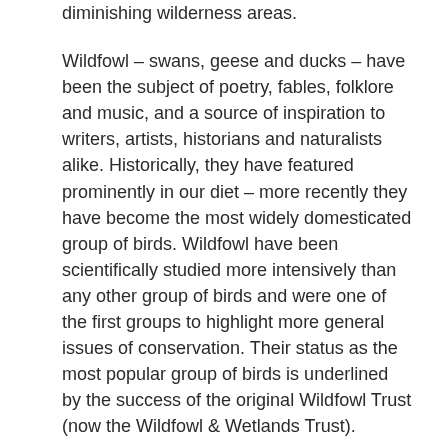diminishing wilderness areas.
Wildfowl – swans, geese and ducks – have been the subject of poetry, fables, folklore and music, and a source of inspiration to writers, artists, historians and naturalists alike. Historically, they have featured prominently in our diet – more recently they have become the most widely domesticated group of birds. Wildfowl have been scientifically studied more intensively than any other group of birds and were one of the first groups to highlight more general issues of conservation. Their status as the most popular group of birds is underlined by the success of the original Wildfowl Trust (now the Wildfowl & Wetlands Trust).
David Cabot has been obsessed with wildfowl for nearly sixty years. In this seminal new work, he discusses the 56 species of wildfowl that have been recorded either in a natural state, or that have been introduced and now maintain self-sustaining populations in Britain and Ireland. He focuses on their social behaviour, feeding ecology and population dynamics, and in particular their seasonal migration patterns. He also explores the evolution and history of wildfowl and our long relationship with them, through popular mythology and legends, which